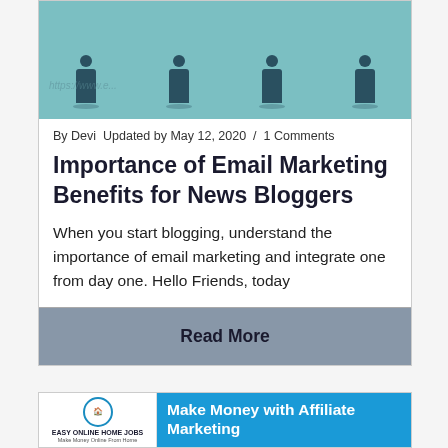[Figure (illustration): Blog article hero image with teal background showing silhouettes of people standing on small platforms, with a watermark URL]
By Devi  Updated by May 12, 2020  /  1 Comments
Importance of Email Marketing Benefits for News Bloggers
When you start blogging, understand the importance of email marketing and integrate one from day one. Hello Friends, today
Read More
[Figure (illustration): Banner for second article: Easy Online Home Jobs logo on white left panel, blue right panel with text Make Money with Affiliate Marketing]